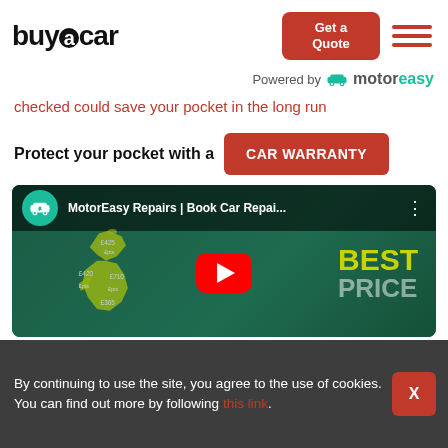buyacar
Powered by motoreasy
checked could save your pocket in the long run
Protect your pocket with a CAR WARRANTY
[Figure (screenshot): YouTube video thumbnail for MotorEasy Repairs | Book Car Repai... showing a UK map with price labels and BEST PRICE text overlay, with a red play button in the center]
By continuing to use the site, you agree to the use of cookies. You can find out more by following this link.